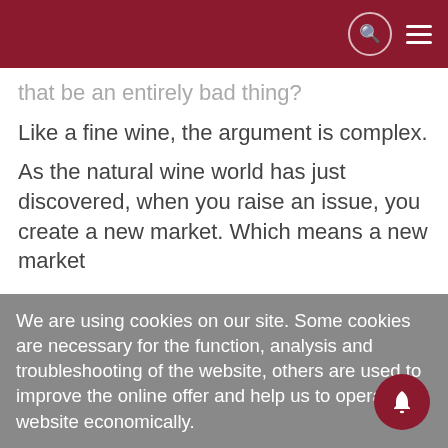[header bar with search and menu icons]
that be an entirely bad thing?
Like a fine wine, the argument is complex.
As the natural wine world has just discovered, when you raise an issue, you create a new market. Which means a new market
We are using cookies on our site. Some cookies are necessary for the function, analysis and troubleshooting of the website, others are used to improve the online offer and help us to operate the website economically.
More info
OK, I agree
No, thanks